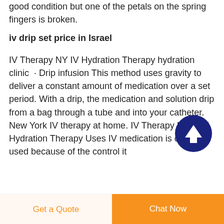good condition but one of the petals on the spring fingers is broken.
iv drip set price in Israel
IV Therapy NY IV Hydration Therapy hydration clinic · Drip infusion This method uses gravity to deliver a constant amount of medication over a set period. With a drip, the medication and solution drip from a bag through a tube and into your catheter. New York IV therapy at home. IV Therapy NY & IV Hydration Therapy Uses IV medication is often used because of the control it
[Figure (illustration): Dark navy blue circular button with an upward-pointing white arrow icon, used as a scroll-to-top button]
Get a Quote
Chat Now